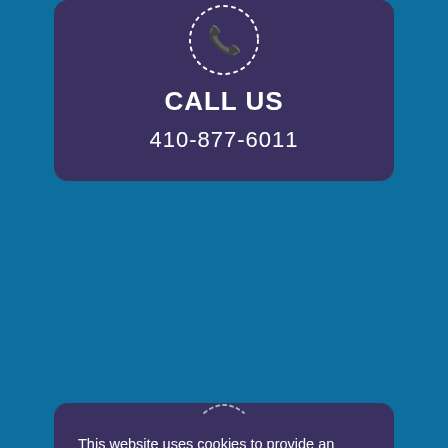[Figure (illustration): Phone handset icon with dotted circular border on dark purple card background]
CALL US
410-877-6011
[Figure (illustration): Small dotted arc/icon at top of cookie consent card]
This website uses cookies to provide an exceptional user experience. Cookies enable you to enjoy certain features and allow us to understand how our site is being used. By continuing to use our site, you consent to our use of cookies.
Read more about Cookies
Decline
Accept Cookies